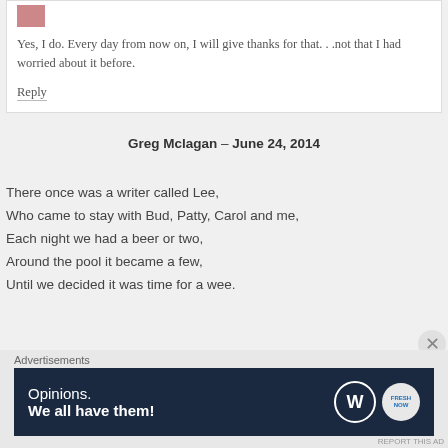Yes, I do. Every day from now on, I will give thanks for that. . .not that I had worried about it before.
Reply
Greg Mclagan – June 24, 2014
There once was a writer called Lee,
Who came to stay with Bud, Patty, Carol and me,
Each night we had a beer or two,
Around the pool it became a few,
Until we decided it was time for a wee.
Advertisements
[Figure (infographic): WordPress advertisement banner: 'Opinions. We all have them!' with WordPress logo and FreshNow circle icon on dark navy background]